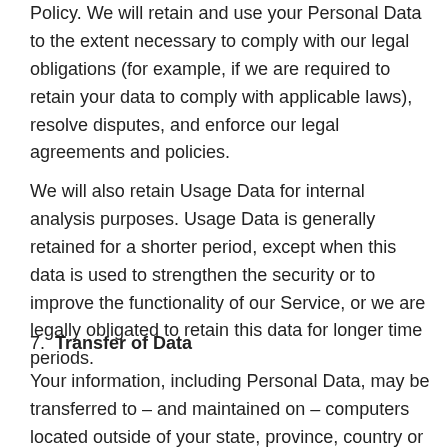Policy. We will retain and use your Personal Data to the extent necessary to comply with our legal obligations (for example, if we are required to retain your data to comply with applicable laws), resolve disputes, and enforce our legal agreements and policies.
We will also retain Usage Data for internal analysis purposes. Usage Data is generally retained for a shorter period, except when this data is used to strengthen the security or to improve the functionality of our Service, or we are legally obligated to retain this data for longer time periods.
7. Transfer of Data
Your information, including Personal Data, may be transferred to – and maintained on – computers located outside of your state, province, country or other governmental jurisdiction where the data